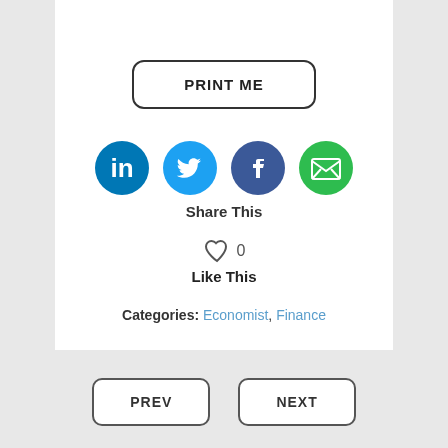[Figure (infographic): PRINT ME button with rounded border, followed by LinkedIn, Twitter, Facebook, and Email share icons, with Share This label below, then a heart icon with 0 count and Like This label]
Share This
0
Like This
Categories: Economist, Finance
[Figure (infographic): PREV and NEXT navigation buttons with rounded borders at bottom of page]